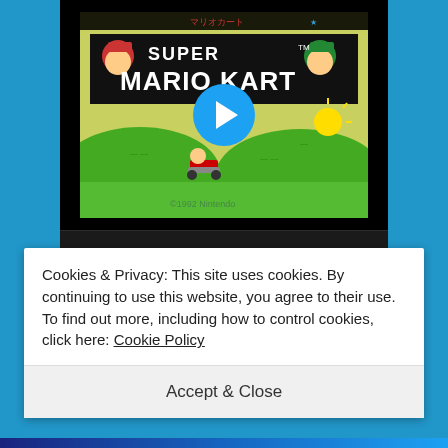[Figure (screenshot): Super Mario Kart SNES game title screen with play button overlay]
54   987
View more on Twitter
ⓘ Learn more about privacy on Twitter
Cookies & Privacy: This site uses cookies. By continuing to use this website, you agree to their use. To find out more, including how to control cookies, click here: Cookie Policy
Accept & Close